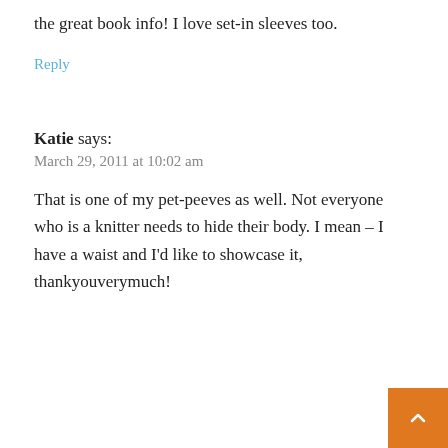the great book info! I love set-in sleeves too.
Reply
Katie says:
March 29, 2011 at 10:02 am
That is one of my pet-peeves as well. Not everyone who is a knitter needs to hide their body. I mean – I have a waist and I'd like to showcase it, thankyouverymuch!